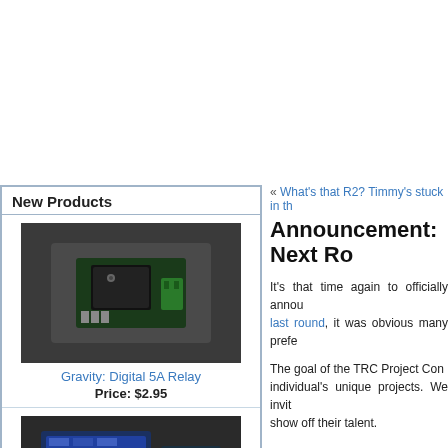New Products
[Figure (photo): Gravity: Digital 5A Relay module on dark background]
Gravity: Digital 5A Relay
Price: $2.95
[Figure (photo): MX-106 Arbotix Starter Kit components on dark background]
MX-106 Arbotix Starter Kit
Price: $699.95
« What's that R2? Timmy's stuck in th…
Announcement: Next Ro…
It's that time again to officially announ… last round, it was obvious many prefe…
The goal of the TRC Project Con… individual's unique projects. We invit… show off their talent.
1st place